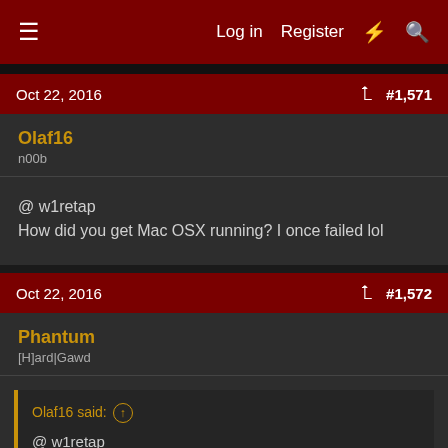Log in  Register
Oct 22, 2016  #1,571
Olaf16
n00b
@ w1retap
How did you get Mac OSX running? I once failed lol
Oct 22, 2016  #1,572
Phantum
[H]ard|Gawd
Olaf16 said:
@ w1retap
How did you get Mac OSX running? I once failed lol